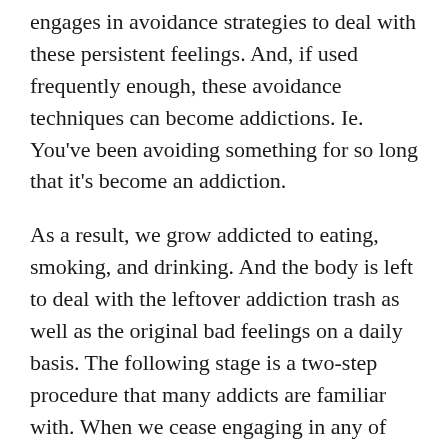engages in avoidance strategies to deal with these persistent feelings. And, if used frequently enough, these avoidance techniques can become addictions. Ie. You've been avoiding something for so long that it's become an addiction.
As a result, we grow addicted to eating, smoking, and drinking. And the body is left to deal with the leftover addiction trash as well as the original bad feelings on a daily basis. The following stage is a two-step procedure that many addicts are familiar with. When we cease engaging in any of these addictive behaviours, the first thing that happens is that we release the underlying feeling that caused the addiction.
Step 2 gives us two options: we can either slip again to avoid the emotion because it's too much to bear, or we can face the emotion full on and release it, allowing us to go on. Diets